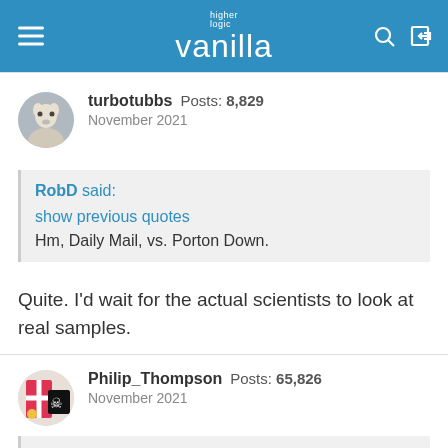higher logic vanilla
turbotubbs  Posts: 8,829  November 2021
RobD said:
show previous quotes
Hm, Daily Mail, vs. Porton Down.
Quite. I'd wait for the actual scientists to look at real samples.
Philip_Thompson  Posts: 65,826  November 2021
Foss said: